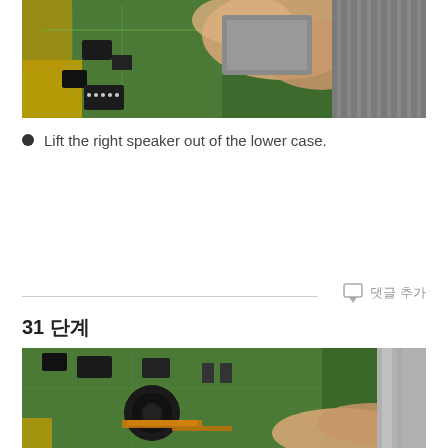[Figure (photo): Close-up photo of hands working on a laptop circuit board, lifting a component. Green PCB with electronic components visible, metallic heat sink or speaker in background.]
Lift the right speaker out of the lower case.
31 단계
[Figure (photo): Close-up photo of hands working on a laptop interior, showing a green circuit board with various components, flat ribbon cables, and a metallic case edge.]